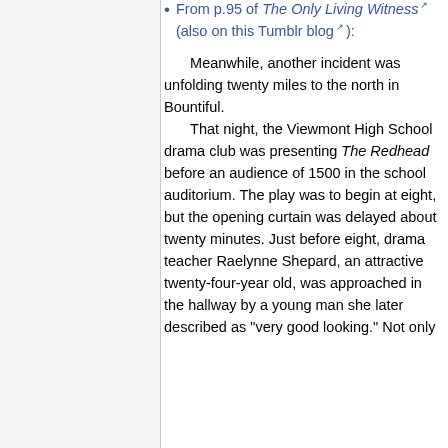From p.95 of The Only Living Witness (also on this Tumblr blog):
Meanwhile, another incident was unfolding twenty miles to the north in Bountiful. That night, the Viewmont High School drama club was presenting The Redhead before an audience of 1500 in the school auditorium. The play was to begin at eight, but the opening curtain was delayed about twenty minutes. Just before eight, drama teacher Raelynne Shepard, an attractive twenty-four-year old, was approached in the hallway by a young man she later described as "very good looking." Not only